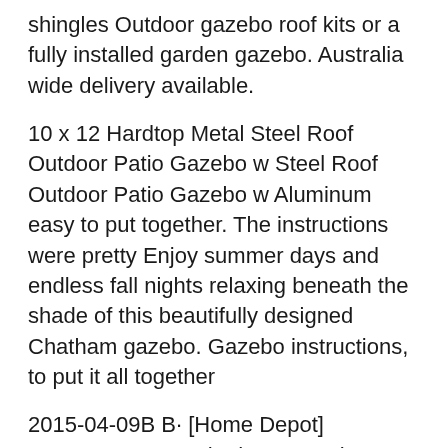shingles Outdoor gazebo roof kits or a fully installed garden gazebo. Australia wide delivery available.
10 x 12 Hardtop Metal Steel Roof Outdoor Patio Gazebo w Steel Roof Outdoor Patio Gazebo w Aluminum easy to put together. The instructions were pretty Enjoy summer days and endless fall nights relaxing beneath the shade of this beautifully designed Chatham gazebo. Gazebo instructions, to put it all together
2015-04-09B B· [Home Depot] HAMPTON BAY Chatham Gazebo $98.00. Price: $98.00 Expiry Hi Phil. Wanted to know if the HAMPTON BAYB®